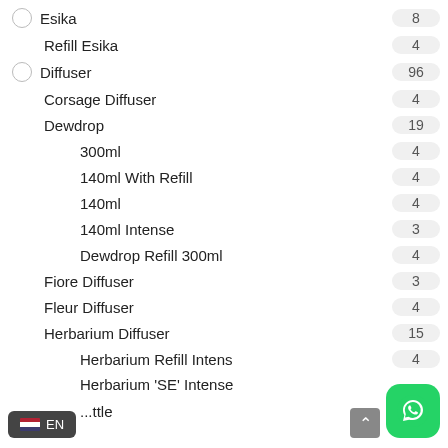Esika — 8
Refill Esika — 4
Diffuser — 96
Corsage Diffuser — 4
Dewdrop — 19
300ml — 4
140ml With Refill — 4
140ml — 4
140ml Intense — 3
Dewdrop Refill 300ml — 4
Fiore Diffuser — 3
Fleur Diffuser — 4
Herbarium Diffuser — 15
Herbarium Refill Intens — 4
Herbarium 'SE' Intense
...ttle
...